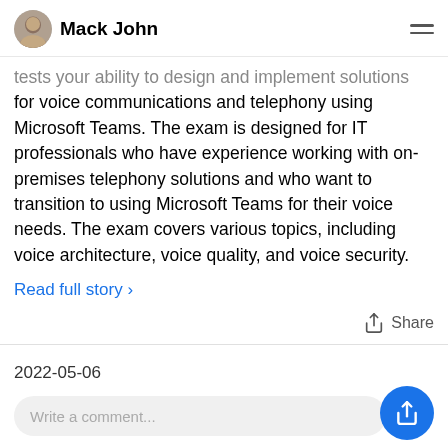Mack John
tests your ability to design and implement solutions for voice communications and telephony using Microsoft Teams. The exam is designed for IT professionals who have experience working with on-premises telephony solutions and who want to transition to using Microsoft Teams for their voice needs. The exam covers various topics, including voice architecture, voice quality, and voice security.
Read full story >
Share
2022-05-06
Write a comment...